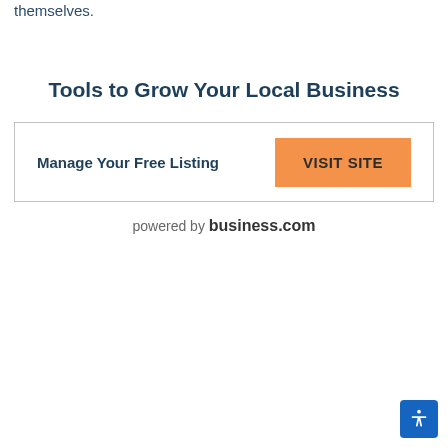themselves.
Tools to Grow Your Local Business
Manage Your Free Listing  VISIT SITE
powered by business.com